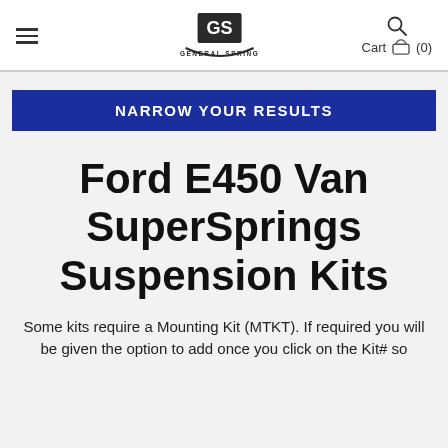General Spring — Cart (0)
NARROW YOUR RESULTS
Ford E450 Van SuperSprings Suspension Kits
Some kits require a Mounting Kit (MTKT). If required you will be given the option to add once you click on the Kit# so